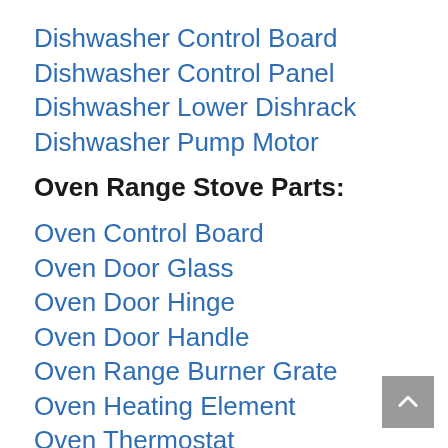Dishwasher Control Board
Dishwasher Control Panel
Dishwasher Lower Dishrack
Dishwasher Pump Motor
Oven Range Stove Parts:
Oven Control Board
Oven Door Glass
Oven Door Hinge
Oven Door Handle
Oven Range Burner Grate
Oven Heating Element
Oven Thermostat